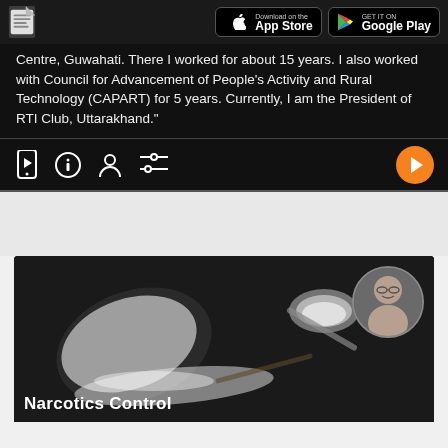[Figure (screenshot): App store download buttons (Apple App Store and Google Play) in dark header bar with document icon]
Centre, Guwahati. There I worked for about 15 years. I also worked with Council for Advancement of People's Activity and Rural Technology (CAPART) for 5 years. Currently, I am the President of RTI Club, Uttarakhand."
[Figure (screenshot): Icon bar with phone/video icon, info icon, person icon, settings/filter icon, and orange play button]
[Figure (photo): Thumbnail for Narcotics Control video showing white powder, spoon, and a man's portrait in a circle. Title reads 'Narcotics Control']